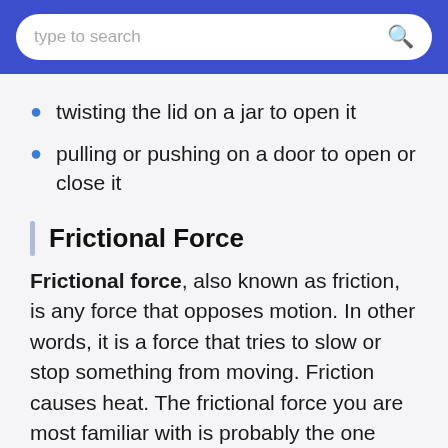type to search
twisting the lid on a jar to open it
pulling or pushing on a door to open or close it
Frictional Force
Frictional force, also known as friction, is any force that opposes motion. In other words, it is a force that tries to slow or stop something from moving. Friction causes heat. The frictional force you are most familiar with is probably the one generated when you rub your hands together to keep them warm. It happens whenever two objects